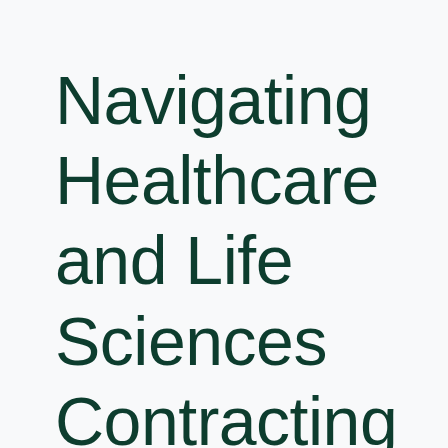Navigating Healthcare and Life Sciences Contracting Complexities in